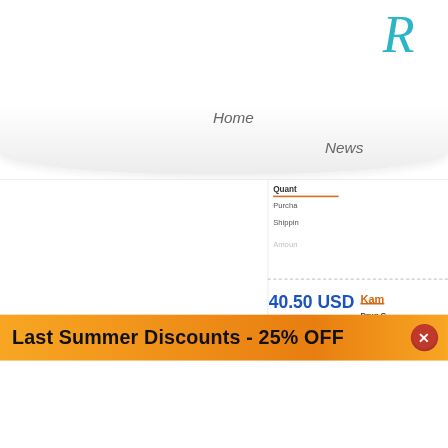R
Home
News
Quant
Purcha
Shippin
Amoun
40.50 USD
54.00 USD
Kam
Drug C
Brand
Routes
Pharm
Last Summer Discounts - 25% OFF